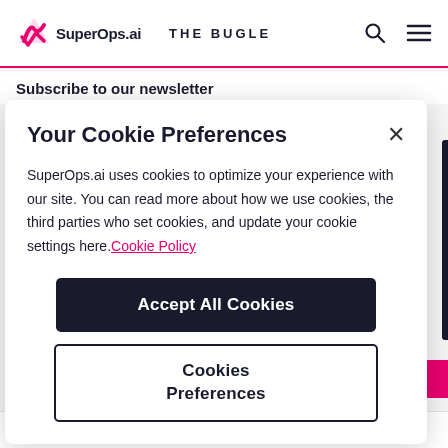SuperOps.ai  THE BUGLE
Subscribe to our newsletter
Your Cookie Preferences
SuperOps.ai uses cookies to optimize your experience with our site. You can read more about how we use cookies, the third parties who set cookies, and update your cookie settings here. Cookie Policy
Accept All Cookies
Cookies Preferences
© 2022 SuperOps.ai. All rights reserved